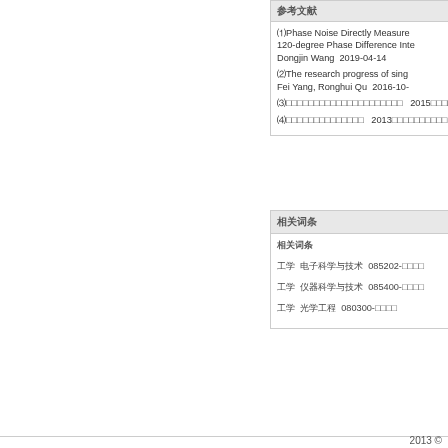参考文献
⑴Phase Noise Directly Measured by 120-degree Phase Difference Interferometer  Dongjin Wang  2019-04-14
⑵The research progress of single...  Fei Yang, Ronghui Qu  2016-10-
⑶□□□□□□□□□□□□□□□□□□□□□□  2015□□□□
⑷□□□□□□□□□□□□□□  2013□□□□□□□□□□
相关词条
相关词条
工学  电子科学与技术  085202-□□□□
工学  仪器科学与技术  085400-□□□□
工学  光学工程  080300-□□□□
2013 ©